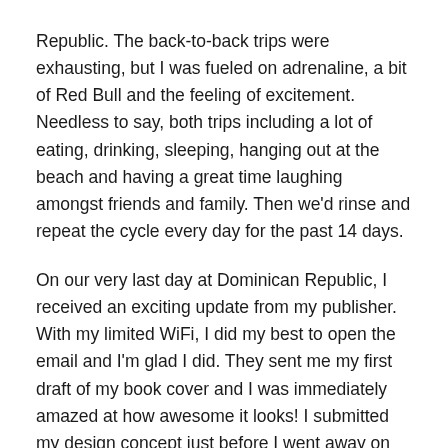Republic. The back-to-back trips were exhausting, but I was fueled on adrenaline, a bit of Red Bull and the feeling of excitement. Needless to say, both trips including a lot of eating, drinking, sleeping, hanging out at the beach and having a great time laughing amongst friends and family. Then we'd rinse and repeat the cycle every day for the past 14 days.
On our very last day at Dominican Republic, I received an exciting update from my publisher. With my limited WiFi, I did my best to open the email and I'm glad I did. They sent me my first draft of my book cover and I was immediately amazed at how awesome it looks! I submitted my design concept just before I went away on my trip and their creative designers worked their magic to create this: